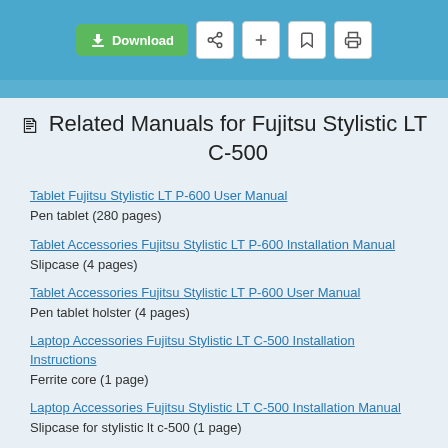[Figure (screenshot): Browser toolbar with Download button (green), share, add, bookmark, and print icons on a blue background]
Related Manuals for Fujitsu Stylistic LT C-500
Tablet Fujitsu Stylistic LT P-600 User Manual
Pen tablet (280 pages)
Tablet Accessories Fujitsu Stylistic LT P-600 Installation Manual
Slipcase (4 pages)
Tablet Accessories Fujitsu Stylistic LT P-600 User Manual
Pen tablet holster (4 pages)
Laptop Accessories Fujitsu Stylistic LT C-500 Installation Instructions
Ferrite core (1 page)
Laptop Accessories Fujitsu Stylistic LT C-500 Installation Manual
Slipcase for stylistic lt c-500 (1 page)